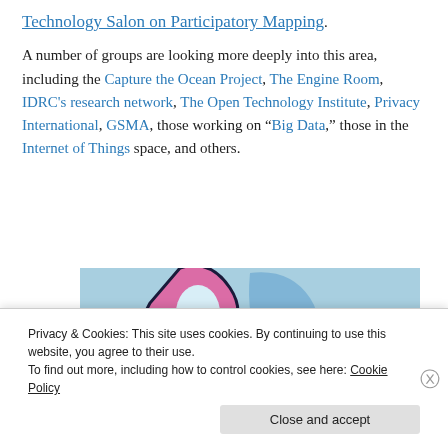Technology Salon on Participatory Mapping.
A number of groups are looking more deeply into this area, including the Capture the Ocean Project, The Engine Room, IDRC's research network, The Open Technology Institute, Privacy International, GSMA, those working on “Big Data,” those in the Internet of Things space, and others.
[Figure (illustration): Partial illustration showing a stylized graphic with pink and blue shapes against a light blue background, with a yellow star/sparkle element.]
Privacy & Cookies: This site uses cookies. By continuing to use this website, you agree to their use. To find out more, including how to control cookies, see here: Cookie Policy
Close and accept